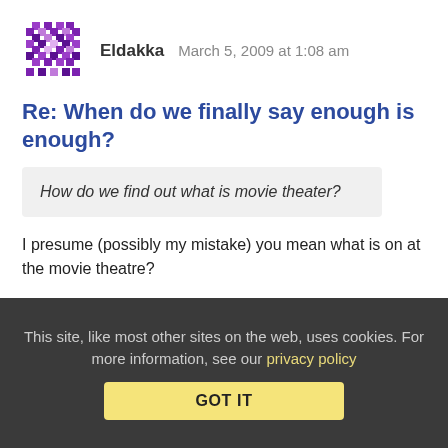[Figure (illustration): Purple pixel/mosaic pattern avatar icon for user Eldakka]
Eldakka   March 5, 2009 at 1:08 am
Re: When do we finally say enough is enough?
How do we find out what is movie theater?
I presume (possibly my mistake) you mean what is on at the movie theatre?
How about calling the local theatre on the phone and asking them?
Or maybe the next time you are in the area, walking in and
This site, like most other sites on the web, uses cookies. For more information, see our privacy policy
GOT IT